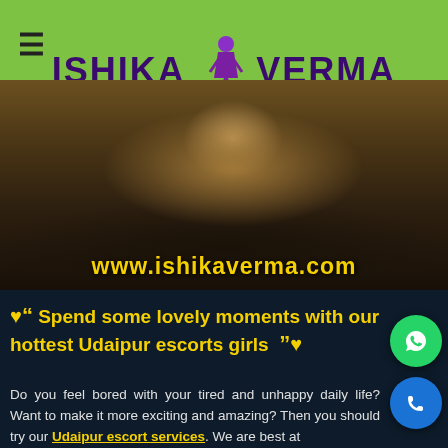ISHIKA VERMA
[Figure (photo): A woman lying on a bed, hero banner image for escort website with URL www.ishikaverma.com overlaid in yellow text]
Spend some lovely moments with our hottest Udaipur escorts girls
Do you feel bored with your tired and unhappy daily life? Want to make it more exciting and amazing? Then you should try our Udaipur escort services. We are best at